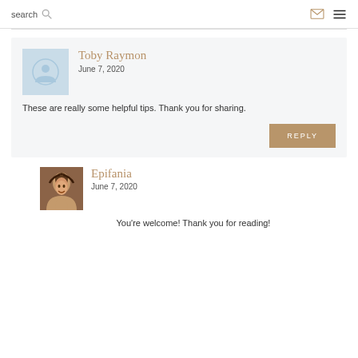search  [search icon]  [envelope icon]  [menu icon]
Toby Raymon
June 7, 2020
These are really some helpful tips. Thank you for sharing.
REPLY
Epifania
June 7, 2020
You're welcome! Thank you for reading!